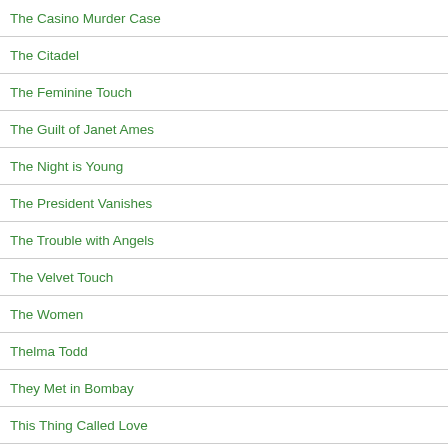The Casino Murder Case
The Citadel
The Feminine Touch
The Guilt of Janet Ames
The Night is Young
The President Vanishes
The Trouble with Angels
The Velvet Touch
The Women
Thelma Todd
They Met in Bombay
This Thing Called Love
Tom Collins